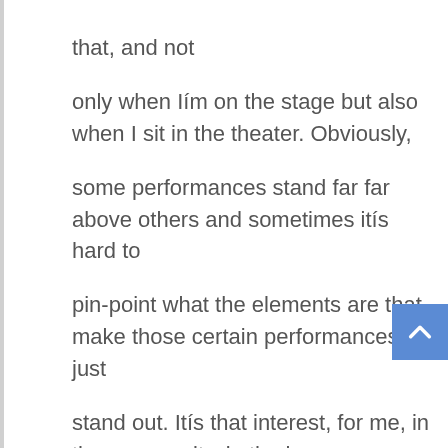that, and not only when Iím on the stage but also when I sit in the theater. Obviously, some performances stand far far above others and sometimes itís hard to pin-point what the elements are that make those certain performances just stand out. Itís that interest, for me, in the community, in the human community. Whether itís as a performer in the theater or as an educator, when I do my work as a clinician or if Iím asked to adjudicate a competition, or when I teach a workshop, thatís also a form of communication. Itís me interpreting for whomever Iím working with; not only the music but the art form itself and trying to be a